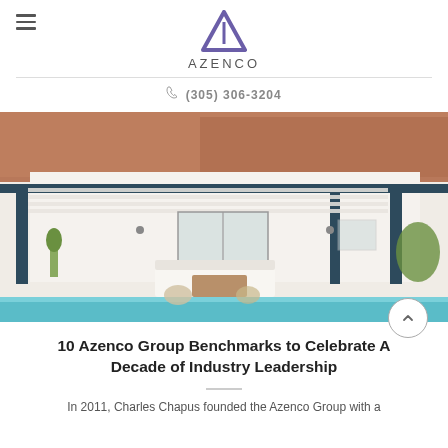AZENCO
(305) 306-3204
[Figure (photo): Outdoor patio with a dark navy louvered pergola attached to a white stucco house with terracotta roof tiles. Outdoor seating area with white cushions and a coffee table below the pergola, with a swimming pool in the foreground and tropical plants on the sides.]
10 Azenco Group Benchmarks to Celebrate A Decade of Industry Leadership
In 2011, Charles Chapus founded the Azenco Group with a